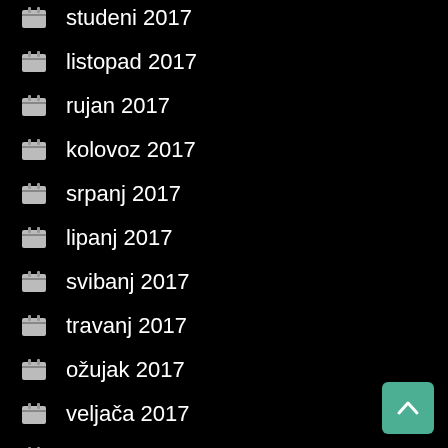studeni 2017
listopad 2017
rujan 2017
kolovoz 2017
srpanj 2017
lipanj 2017
svibanj 2017
travanj 2017
ožujak 2017
veljača 2017
siječanj 2017
prosinac 2016
studeni 2016